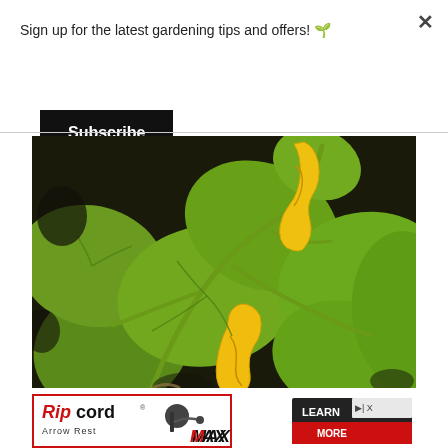Sign up for the latest gardening tips and offers! 🌱
Subscribe
[Figure (photo): Close-up photo of a yellow crookneck squash plant with large green leaves growing in dark soil. Two yellow squash fruits are visible among the foliage.]
[Figure (photo): Ripcord Arrow Rest advertisement banner with logo text reading 'Ripcord Arrow Rest' in red and black, with MAX text, archery rest hardware image, and LEARN MORE button with AdChoices icon.]